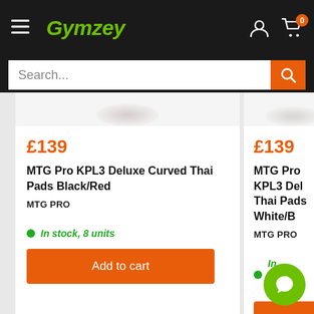Gymzey
Search...
£139
MTG Pro KPL3 Deluxe Curved Thai Pads Black/Red
MTG PRO
In stock, 8 units
Add to cart
£139
MTG Pro KPL3 Deluxe Curved Thai Pads White/B…
MTG PRO
In stock, 22 units
Add to c…